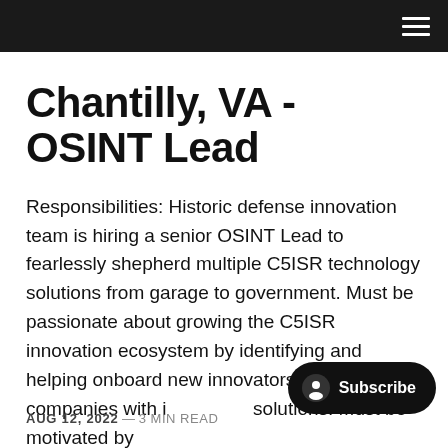Chantilly, VA - OSINT Lead
Responsibilities: Historic defense innovation team is hiring a senior OSINT Lead to fearlessly shepherd multiple C5ISR technology solutions from garage to government. Must be passionate about growing the C5ISR innovation ecosystem by identifying and helping onboard new innovators and companies with innovative solutions. Must be motivated by
AUG 12, 2022 — 3 MIN READ